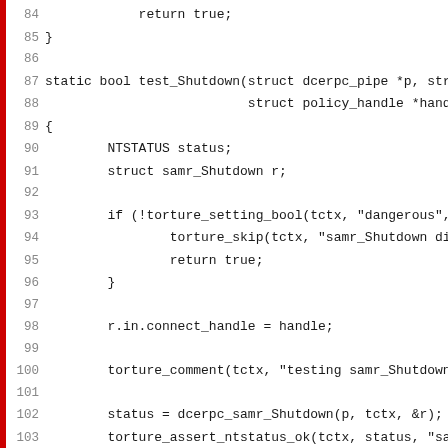[Figure (screenshot): Source code listing showing C functions test_Shutdown and test_SetDsrmPassword with line numbers 84-115, displayed in a monospace font on white background with a red vertical bar on the left edge.]